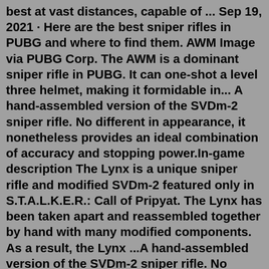best at vast distances, capable of ... Sep 19, 2021 · Here are the best sniper rifles in PUBG and where to find them. AWM Image via PUBG Corp. The AWM is a dominant sniper rifle in PUBG. It can one-shot a level three helmet, making it formidable in... A hand-assembled version of the SVDm-2 sniper rifle. No different in appearance, it nonetheless provides an ideal combination of accuracy and stopping power.In-game description The Lynx is a unique sniper rifle and modified SVDm-2 featured only in S.T.A.L.K.E.R.: Call of Pripyat. The Lynx has been taken apart and reassembled together by hand with many modified components. As a result, the Lynx ...A hand-assembled version of the SVDm-2 sniper rifle. No different in appearance, it nonetheless provides an ideal combination of accuracy and stopping power.In-game description The Lynx is a unique sniper rifle and modified SVDm-2 featured only in S.T.A.L.K.E.R.: Call of Pripyat. The Lynx has been taken apart and reassembled together by hand with many modified components. As a result, the Lynx ...